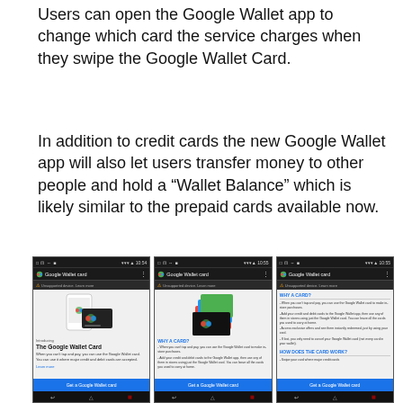Users can open the Google Wallet app to change which card the service charges when they swipe the Google Wallet Card.
In addition to credit cards the new Google Wallet app will also let users transfer money to other people and hold a “Wallet Balance” which is likely similar to the prepaid cards available now.
[Figure (screenshot): Three screenshots of the Google Wallet Card app on Android, showing the card introduction screen, the 'Why a Card?' section, and detailed bullet points about card features.]